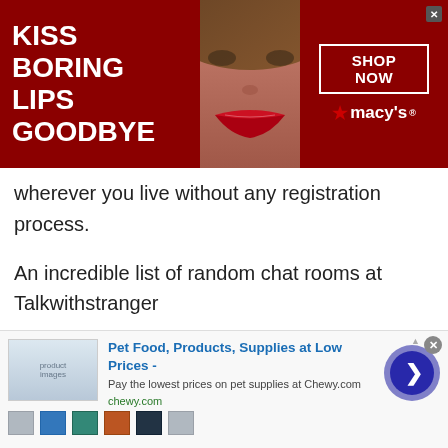[Figure (screenshot): Macy's advertisement banner: 'KISS BORING LIPS GOODBYE' on dark red background with a woman's face and red lips, with 'SHOP NOW' button and Macy's star logo on the right]
wherever you live without any registration process.
An incredible list of random chat rooms at Talkwithstranger
Talking to strangers in Gibraltar is incredibly easy and fun once you have a lot of choices of random chat rooms. Not only in Gibraltar, Talkwithstranger offers tremendous random chat rooms and exciting features all over the world. So, would you want
[Figure (screenshot): Chewy.com advertisement banner: 'Pet Food, Products, Supplies at Low Prices - Pay the lowest prices on pet supplies at Chewy.com' with product images and a blue circular arrow button]